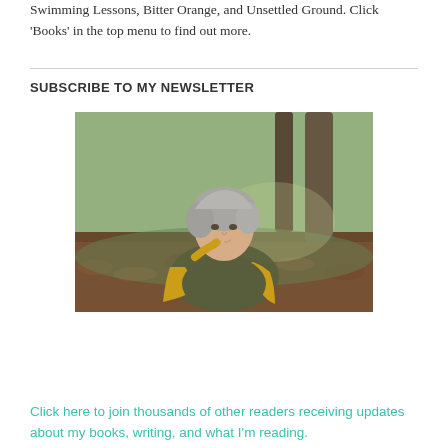Swimming Lessons, Bitter Orange, and Unsettled Ground. Click 'Books' in the top menu to find out more.
SUBSCRIBE TO MY NEWSLETTER
[Figure (photo): A woman with grey hair wearing a yellow long-sleeve top and dark olive vest, sitting outdoors in a woodland setting with trees and autumn leaves on the ground, resting her chin on her hand.]
Click here to join thousands of other readers receiving updates about my books, writing, and what I'm reading.